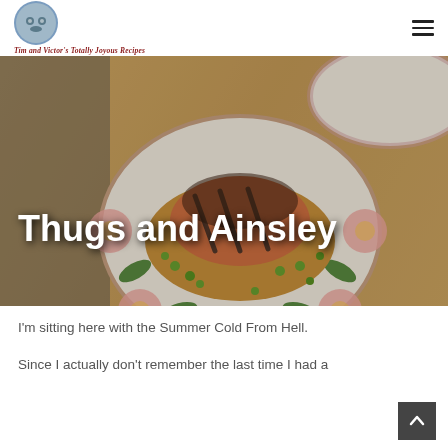Tim and Victor's Totally Joyous Recipes
[Figure (photo): A floral-patterned plate with grilled salmon on a bed of couscous with peas and vegetables, set on a wooden table. Title 'Thugs and Ainsley' overlaid in white bold text.]
I'm sitting here with the Summer Cold From Hell.
Since I actually don't remember the last time I had a